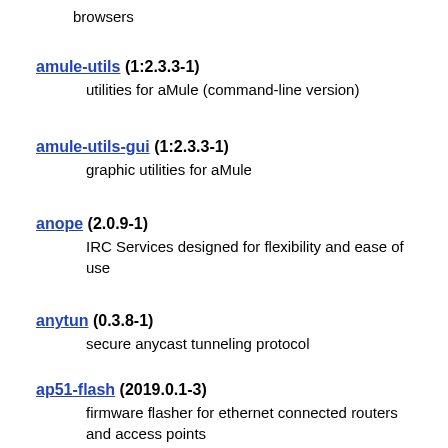browsers
amule-utils (1:2.3.3-1)
    utilities for aMule (command-line version)
amule-utils-gui (1:2.3.3-1)
    graphic utilities for aMule
anope (2.0.9-1)
    IRC Services designed for flexibility and ease of use
anytun (0.3.8-1)
    secure anycast tunneling protocol
ap51-flash (2019.0.1-3)
    firmware flasher for ethernet connected routers and access points